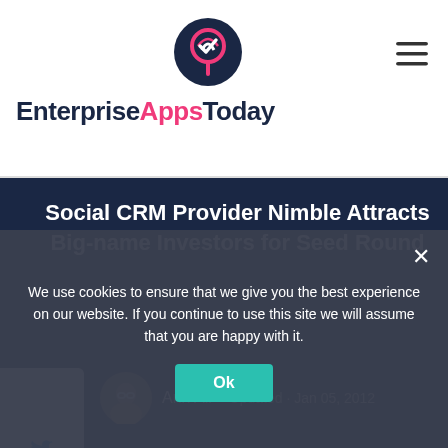EnterpriseAppsToday
Social CRM Provider Nimble Attracts Big-name Investors for Seed Round
Ann All  Updated · Jan 05, 2012
We use cookies to ensure that we give you the best experience on our website. If you continue to use this site we will assume that you are happy with it.
A sure-fire way for a software company to earn a